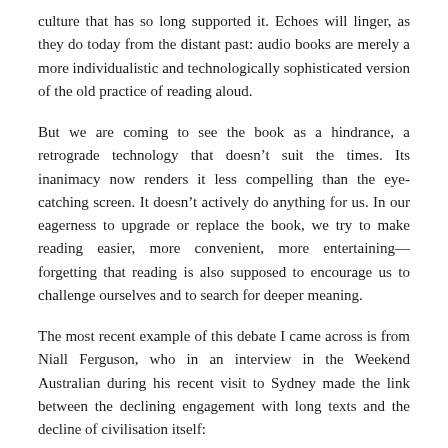culture that has so long supported it. Echoes will linger, as they do today from the distant past: audio books are merely a more individualistic and technologically sophisticated version of the old practice of reading aloud.
But we are coming to see the book as a hindrance, a retrograde technology that doesn't suit the times. Its inanimacy now renders it less compelling than the eye-catching screen. It doesn't actively do anything for us. In our eagerness to upgrade or replace the book, we try to make reading easier, more convenient, more entertaining—forgetting that reading is also supposed to encourage us to challenge ourselves and to search for deeper meaning.
The most recent example of this debate I came across is from Niall Ferguson, who in an interview in the Weekend Australian during his recent visit to Sydney made the link between the declining engagement with long texts and the decline of civilisation itself: